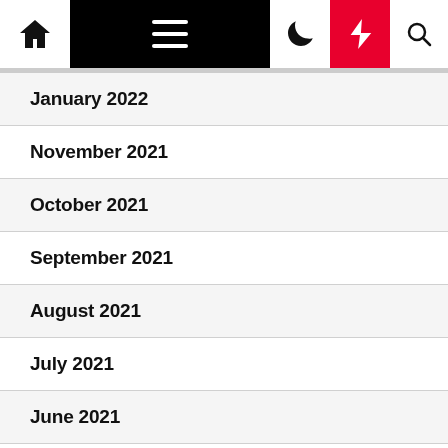Navigation bar with home, menu, dark mode, lightning, and search icons
January 2022
November 2021
October 2021
September 2021
August 2021
July 2021
June 2021
May 2021
April 2021